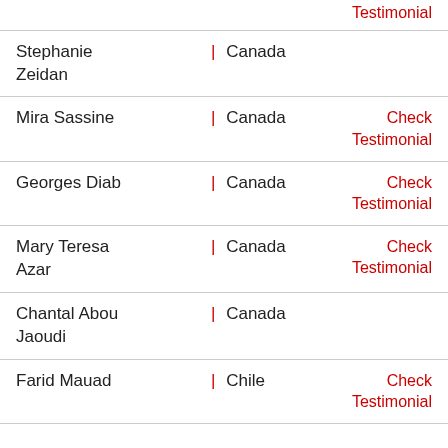Testimonial (partial top)
Stephanie Zeidan | Canada
Mira Sassine | Canada | Check Testimonial
Georges Diab | Canada | Check Testimonial
Mary Teresa Azar | Canada | Check Testimonial
Chantal Abou Jaoudi | Canada
Farid Mauad | Chile | Check Testimonial